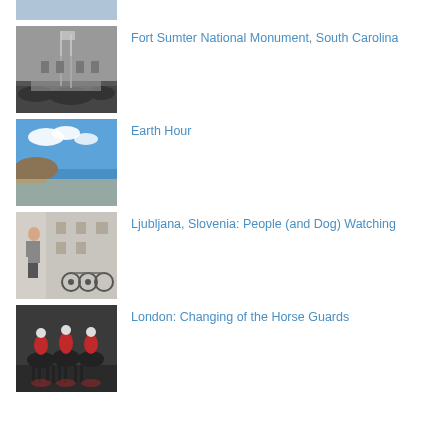[Figure (photo): Partial view of a photo at the top, mostly cropped]
[Figure (photo): Black and white historical photo of Fort Sumter National Monument, South Carolina, showing a crowd of people]
Fort Sumter National Monument, South Carolina
[Figure (photo): Photo of a beach/coastal scene under blue sky - Earth Hour]
Earth Hour
[Figure (photo): Photo of people and bicycles on a street in Ljubljana, Slovenia]
Ljubljana, Slovenia: People (and Dog) Watching
[Figure (photo): Photo of London Horse Guards in red uniforms on horses]
London: Changing of the Horse Guards